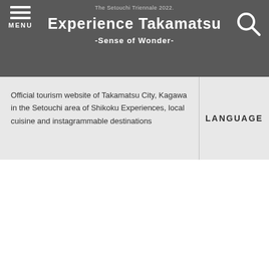The Setouchi Triennale 2022.
Experience Takamatsu -Sense of Wonder-
Official tourism website of Takamatsu City, Kagawa in the Setouchi area of Shikoku Experiences, local cuisine and instagrammable destinations
LANGUAGE